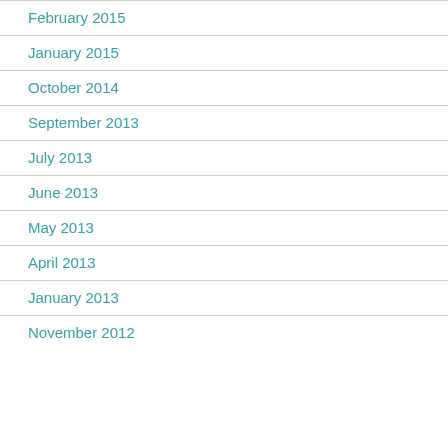February 2015
January 2015
October 2014
September 2013
July 2013
June 2013
May 2013
April 2013
January 2013
November 2012